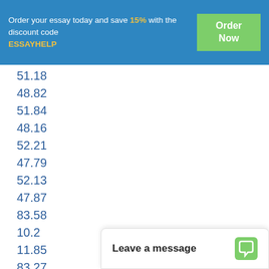Order your essay today and save 15% with the discount code ESSAYHELP | Order Now
51.18
48.82
51.84
48.16
52.21
47.79
52.13
47.87
83.58
10.2
11.85
83.27
10.95
10.55
86.89
8.18
11.1
77.32
Leave a message